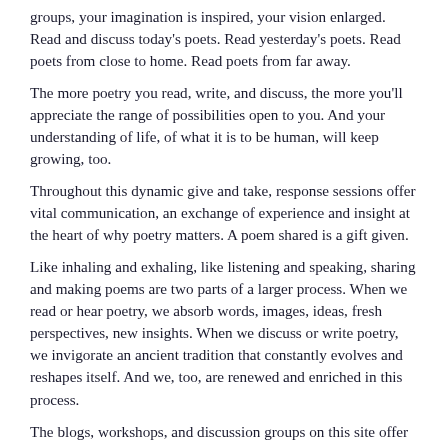groups, your imagination is inspired, your vision enlarged. Read and discuss today's poets. Read yesterday's poets. Read poets from close to home. Read poets from far away.
The more poetry you read, write, and discuss, the more you'll appreciate the range of possibilities open to you. And your understanding of life, of what it is to be human, will keep growing, too.
Throughout this dynamic give and take, response sessions offer vital communication, an exchange of experience and insight at the heart of why poetry matters. A poem shared is a gift given.
Like inhaling and exhaling, like listening and speaking, sharing and making poems are two parts of a larger process. When we read or hear poetry, we absorb words, images, ideas, fresh perspectives, new insights. When we discuss or write poetry, we invigorate an ancient tradition that constantly evolves and reshapes itself. And we, too, are renewed and enriched in this process.
The blogs, workshops, and discussion groups on this site offer excellent opportunities for sharing and discussing poetry. The more actively you participate the more you'll grow as a writer — and as a person.